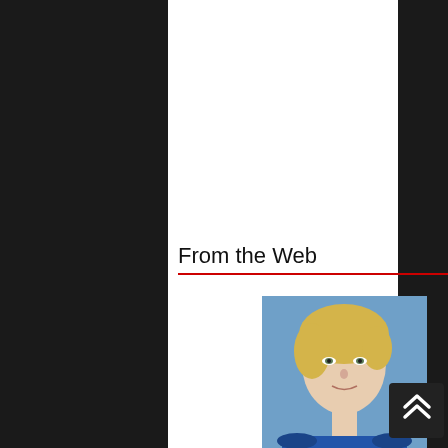From the Web
by ZergNet
[Figure (photo): Portrait photo of Anne Heche, blonde woman against blue background with TH watermark]
Anne Heche's Crash Details Just Went To Another Level
[Figure (photo): Portrait photo of Mark Ruffalo, dark-haired man against gray background]
The Tragedy Of Mark Ruffalo Just Gets Sadder And Sadder